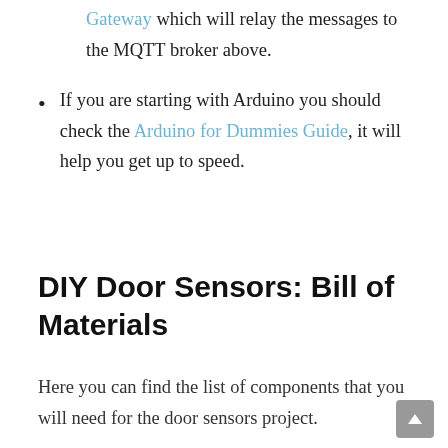Gateway which will relay the messages to the MQTT broker above.
If you are starting with Arduino you should check the Arduino for Dummies Guide, it will help you get up to speed.
DIY Door Sensors: Bill of Materials
Here you can find the list of components that you will need for the door sensors project.